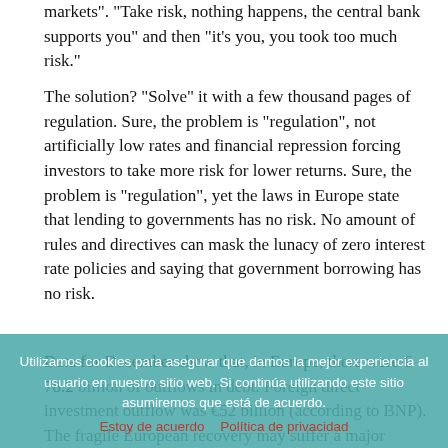markets". "Take risk, nothing happens, the central bank supports you" and then "it's you, you took too much risk."
The solution? "Solve" it with a few thousand pages of regulation. Sure, the problem is "regulation", not artificially low rates and financial repression forcing investors to take more risk for lower returns. Sure, the problem is "regulation", yet the laws in Europe state that lending to governments has no risk. No amount of rules and directives can mask the lunacy of zero interest rate policies and saying that government borrowing has no risk.
Data for December show that, in Europe, there were € 78.2 billion of outflows in debt. Foreign direct investment outflow was €52 billion (according to BNP). The fragile European recovery may suffer a major setback if the monetary laughing gas continues and, above all, if the imbalances that can lead to a major crisis remain.
Utilizamos cookies para asegurar que damos la mejor experiencia al usuario en nuestro sitio web. Si continúa utilizando este sitio asumiremos que está de acuerdo.
Estoy de acuerdo    Política de privacidad